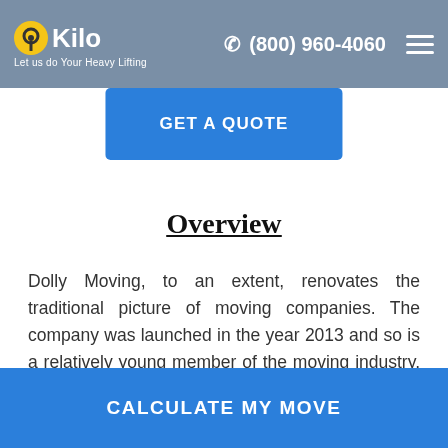Kilo — Let us do Your Heavy Lifting | (800) 960-4060
GET A QUOTE
Overview
Dolly Moving, to an extent, renovates the traditional picture of moving companies. The company was launched in the year 2013 and so is a relatively young member of the moving industry. So far they've had great success and moved over 1 million items. Interestingly, the Dolly Moving app has also been downloaded by over hundred thousand people. Customers mainly appreciate the app because of its convenience. It's easy to use and
CALCULATE MY MOVE